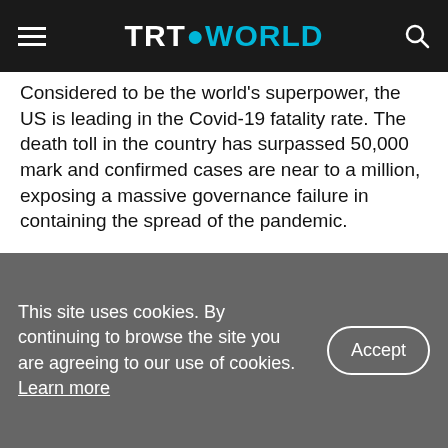TRT WORLD
Considered to be the world's superpower, the US is leading in the Covid-19 fatality rate. The death toll in the country has surpassed 50,000 mark and confirmed cases are near to a million, exposing a massive governance failure in containing the spread of the pandemic.
Experts think that Washington's ill-equipped response resembles that of a failed state, a term Washington's political elite has almost always used to discredit other countries, especially developing ones.
This site uses cookies. By continuing to browse the site you are agreeing to our use of cookies. Learn more